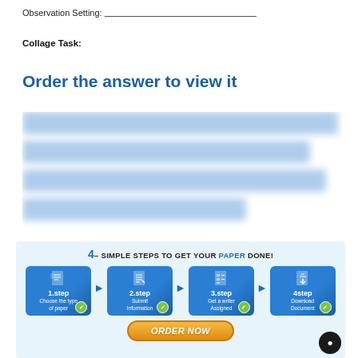Observation Setting: ___________________________
Collage Task:
Order the answer to view it
[Figure (other): Blurred/redacted text content preview]
[Figure (infographic): 4 Simple Steps to Get Your Paper Done infographic with steps: 1.step Choose the type of paper, 2.step Submit Information, 3.step Get a writer Assigned, 4step Download Document, and ORDER NOW button]